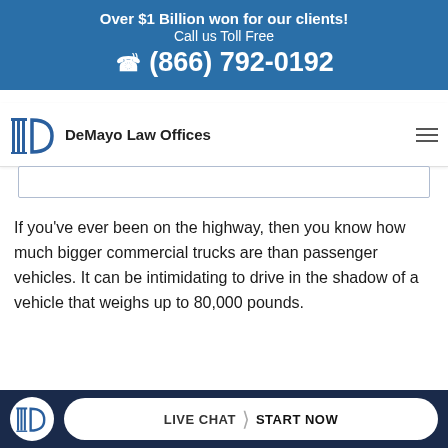Over $1 Billion won for our clients! Call us Toll Free (866) 792-0192
[Figure (logo): DeMayo Law Offices logo with columns and D-shape icon]
If you've ever been on the highway, then you know how much bigger commercial trucks are than passenger vehicles. It can be intimidating to drive in the shadow of a vehicle that weighs up to 80,000 pounds.
Any anxi... you have when you're next to a truck is
LIVE CHAT  START NOW